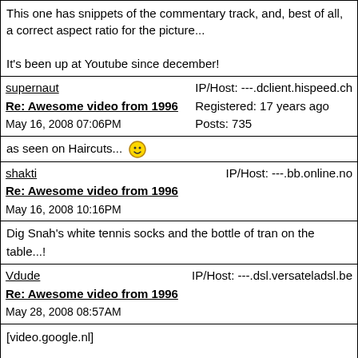This one has snippets of the commentary track, and, best of all, a correct aspect ratio for the picture...

It's been up at Youtube since december!
supernaut
Re: Awesome video from 1996
May 16, 2008 07:06PM
IP/Host: ---.dclient.hispeed.ch
Registered: 17 years ago
Posts: 735
as seen on Haircuts... 🙂
shakti
Re: Awesome video from 1996
May 16, 2008 10:16PM
IP/Host: ---.bb.online.no
Dig Snah's white tennis socks and the bottle of tran on the table...!
Vdude
Re: Awesome video from 1996
May 28, 2008 08:57AM
IP/Host: ---.dsl.versateladsl.be
[video.google.nl]

a vid with the wheel as background
Vdude
Re: Awesome video from 1996
May 30, 2008 08:03PM
IP/Host: ---.dsl.versateladsl.be
Upstairs/downstairs taken from VPRO's Noorse Helden (Norwegian Heroes), a 40min documentary 'bout the band the year the "let them eat cake" album was released.
A short glimpse into the magic :-)